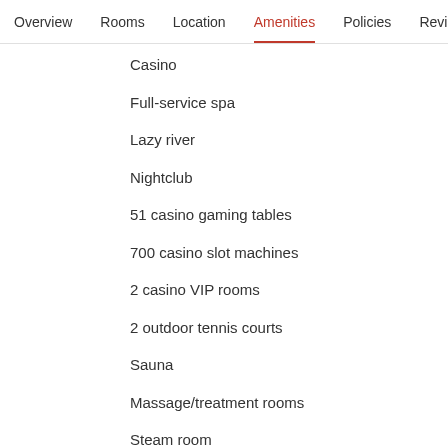Overview  Rooms  Location  Amenities  Policies  Reviews
Casino
Full-service spa
Lazy river
Nightclub
51 casino gaming tables
700 casino slot machines
2 casino VIP rooms
2 outdoor tennis courts
Sauna
Massage/treatment rooms
Steam room
Waterslide
Accessibility
Elevator
In-room accessibility
Wheelchair accessible